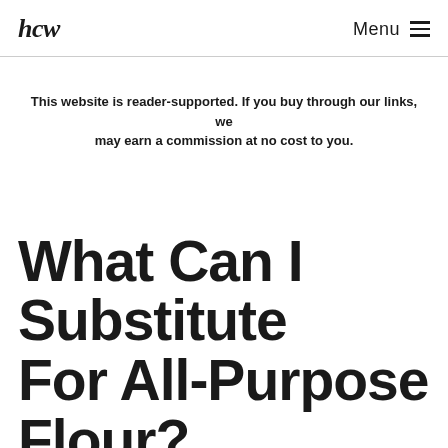hcw   Menu
This website is reader-supported. If you buy through our links, we may earn a commission at no cost to you.
What Can I Substitute For All-Purpose Flour?